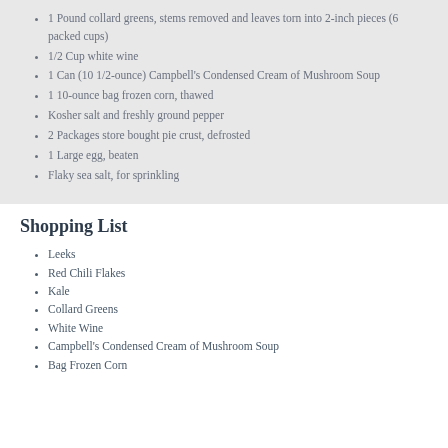1 Pound collard greens, stems removed and leaves torn into 2-inch pieces (6 packed cups)
1/2 Cup white wine
1 Can (10 1/2-ounce) Campbell's Condensed Cream of Mushroom Soup
1 10-ounce bag frozen corn, thawed
Kosher salt and freshly ground pepper
2 Packages store bought pie crust, defrosted
1 Large egg, beaten
Flaky sea salt, for sprinkling
Shopping List
Leeks
Red Chili Flakes
Kale
Collard Greens
White Wine
Campbell's Condensed Cream of Mushroom Soup
Bag Frozen Corn